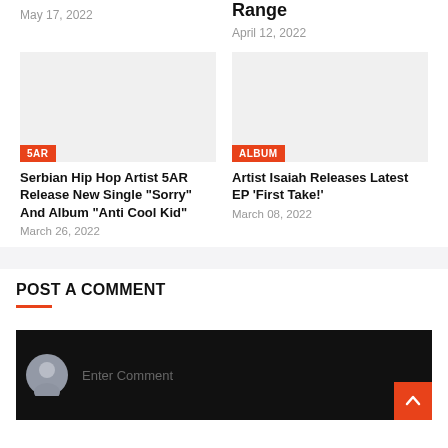May 17, 2022
Range
April 12, 2022
[Figure (photo): Gray placeholder image for Serbian Hip Hop Artist 5AR article with 5AR tag]
[Figure (photo): Gray placeholder image for Artist Isaiah article with ALBUM tag]
Serbian Hip Hop Artist 5AR Release New Single "Sorry" And Album "Anti Cool Kid"
March 26, 2022
Artist Isaiah Releases Latest EP 'First Take!'
March 08, 2022
POST A COMMENT
Enter Comment